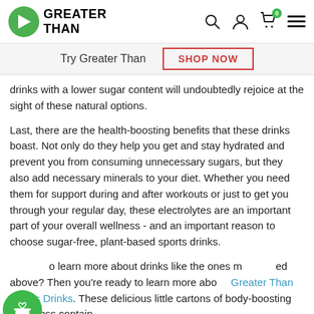GREATER THAN
Try Greater Than
SHOP NOW
drinks with a lower sugar content will undoubtedly rejoice at the sight of these natural options.
Last, there are the health-boosting benefits that these drinks boast. Not only do they help you get and stay hydrated and prevent you from consuming unnecessary sugars, but they also add necessary minerals to your diet. Whether you need them for support during and after workouts or just to get you through your regular day, these electrolytes are an important part of your overall wellness - and an important reason to choose sugar-free, plant-based sports drinks.
Ready to learn more about drinks like the ones mentioned above? Then you're ready to learn more about Greater Than Sports Drinks. These delicious little cartons of body-boosting greatness contain